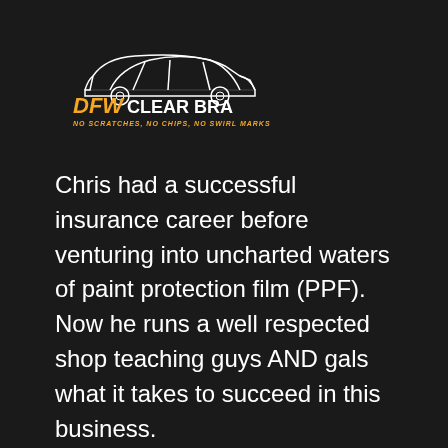[Figure (logo): DFW Clear Bra logo with car silhouette outline, 'DFW' in orange bold text, 'CLEAR BRA' in white text, and tagline 'NO SCRATCHES, NO CHIPS, NO SWIRL MARKS' in orange italic text below]
Chris had a successful insurance career before venturing into uncharted waters of paint protection film (PPF). Now he runs a well respected shop teaching guys AND gals what it takes to succeed in this business.